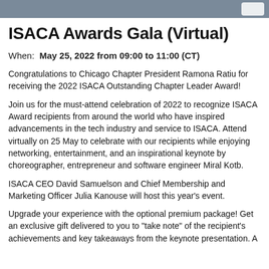ISACA Awards Gala (Virtual)
When: May 25, 2022 from 09:00 to 11:00 (CT)
Congratulations to Chicago Chapter President Ramona Ratiu for receiving the 2022 ISACA Outstanding Chapter Leader Award!
Join us for the must-attend celebration of 2022 to recognize ISACA Award recipients from around the world who have inspired advancements in the tech industry and service to ISACA. Attend virtually on 25 May to celebrate with our recipients while enjoying networking, entertainment, and an inspirational keynote by choreographer, entrepreneur and software engineer Miral Kotb.
ISACA CEO David Samuelson and Chief Membership and Marketing Officer Julia Kanouse will host this year's event.
Upgrade your experience with the optional premium package! Get an exclusive gift delivered to you to "take note" of the recipient's achievements and key takeaways from the keynote presentation. A